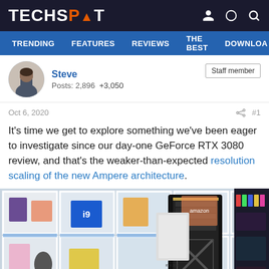TECHSPOT
TRENDING  FEATURES  REVIEWS  THE BEST  DOWNLOA
Steve
Posts: 2,896  +3,050
Staff member
Oct 6, 2020  #1
It's time we get to explore something we've been eager to investigate since our day-one GeForce RTX 3080 review, and that's the weaker-than-expected resolution scaling of the new Ampere architecture.
[Figure (photo): Photo of an Nvidia GeForce RTX 3080 Founders Edition GPU standing upright in front of a white shelving unit filled with tech products and collectibles, with RGB lighting visible on the right side.]